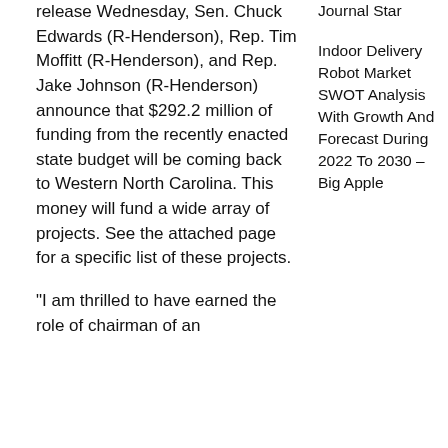release Wednesday, Sen. Chuck Edwards (R-Henderson), Rep. Tim Moffitt (R-Henderson), and Rep. Jake Johnson (R-Henderson) announce that $292.2 million of funding from the recently enacted state budget will be coming back to Western North Carolina. This money will fund a wide array of projects. See the attached page for a specific list of these projects.
“I am thrilled to have earned the role of chairman of an
Journal Star Indoor Delivery Robot Market SWOT Analysis With Growth And Forecast During 2022 To 2030 – Big Apple